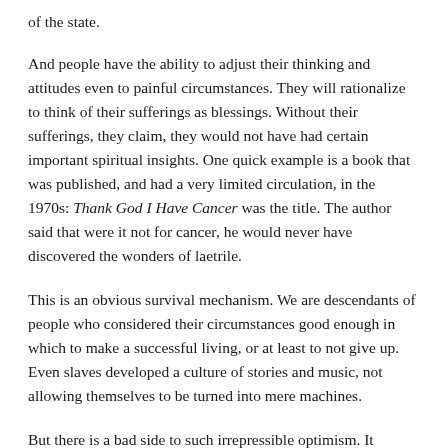of the state.
And people have the ability to adjust their thinking and attitudes even to painful circumstances. They will rationalize to think of their sufferings as blessings. Without their sufferings, they claim, they would not have had certain important spiritual insights. One quick example is a book that was published, and had a very limited circulation, in the 1970s: Thank God I Have Cancer was the title. The author said that were it not for cancer, he would never have discovered the wonders of laetrile.
This is an obvious survival mechanism. We are descendants of people who considered their circumstances good enough in which to make a successful living, or at least to not give up. Even slaves developed a culture of stories and music, not allowing themselves to be turned into mere machines.
But there is a bad side to such irrepressible optimism. It doesn’t take many generations, perhaps only one, for people to forget beauty and blessings that are lost. As a botanist and lover of forests, one example I immediately think of is that we no longer notice that our American and European forests are ghosts of what